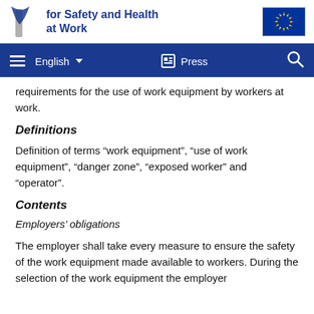for Safety and Health at Work
requirements for the use of work equipment by workers at work.
Definitions
Definition of terms “work equipment”, “use of work equipment”, “danger zone”, “exposed worker” and “operator”.
Contents
Employers’ obligations
The employer shall take every measure to ensure the safety of the work equipment made available to workers. During the selection of the work equipment the employer